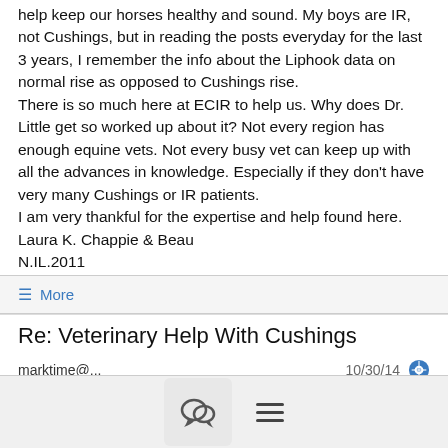help keep our horses healthy and sound.  My boys are IR, not Cushings, but in reading the posts everyday for the last 3 years, I remember the info about the Liphook data on normal rise as opposed to Cushings rise.
There is so much here at ECIR to help us.  Why does Dr. Little get so worked up about it?  Not every region has enough equine vets.  Not every busy vet can keep up with all the advances in knowledge.  Especially if they don't have very many Cushings or IR patients.
I am very thankful for the expertise and help found here.
Laura K. Chappie & Beau
N.IL.2011
≡ More
Re: Veterinary Help With Cushings
marktime@...   10/30/14